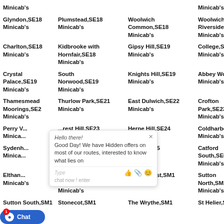Minicab's
Minicab's
Woolwich Common,SE18 Minicab's
Woolwich Riverside,SE18 Minicab's
Glyndon,SE18 Minicab's
Plumstead,SE18 Minicab's
Gipsy Hill,SE19 Minicab's
College,SE19 Minicab's
Charlton,SE18 Minicab's
Kidbrooke with Hornfair,SE18 Minicab's
Crystal Palace,SE19 Minicab's
South Norwood,SE19 Minicab's
Knights Hill,SE19 Minicab's
Abbey Wood,SE Minicab's
Thamesmead Moorings,SE2 Minicab's
Thurlow Park,SE21 Minicab's
East Dulwich,SE22 Minicab's
Crofton Park,SE23 Minicab's
Perry... Minicab's
...rest Hill,SE23 Minicab's
Herne Hill,SE24 Minicab's
Coldharbour,SE Minicab's
Sydenham Minicab's
...reatham ...l,SE27 Minicab's
Vassall,SE5 Minicab's
Catford South,SE6 Minicab's
Elthan... Minicab's
...tton Central,SM1 Minicab's
Sutton West,SM1 Minicab's
Sutton North,SM1 Minicab's
Sutton South,SM1
Stonecot,SM1
The Wrythe,SM1
St Helier,SM1